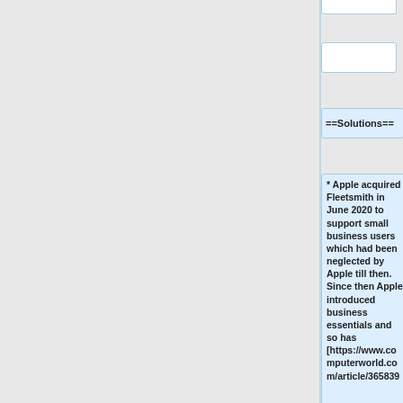==Solutions==
* Apple acquired Fleetsmith in June 2020 to support small business users which had been neglected by Apple till then. Since then Apple introduced business essentials and so has [https://www.computerworld.com/article/365839